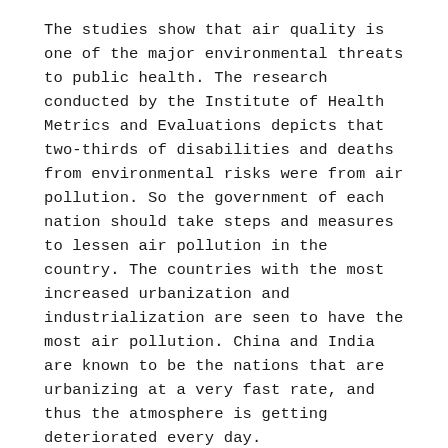The studies show that air quality is one of the major environmental threats to public health. The research conducted by the Institute of Health Metrics and Evaluations depicts that two-thirds of disabilities and deaths from environmental risks were from air pollution. So the government of each nation should take steps and measures to lessen air pollution in the country. The countries with the most increased urbanization and industrialization are seen to have the most air pollution. China and India are known to be the nations that are urbanizing at a very fast rate, and thus the atmosphere is getting deteriorated every day.
Measures to Reduce Air Pollution
Some countries are taking steps and measures to